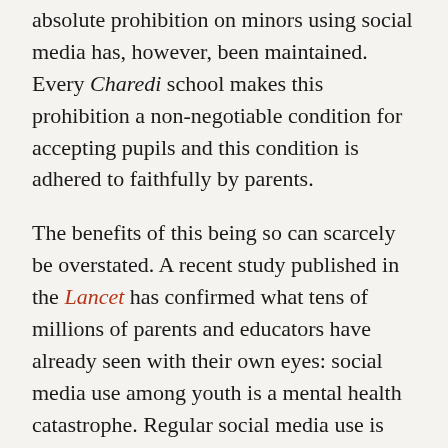absolute prohibition on minors using social media has, however, been maintained. Every Charedi school makes this prohibition a non-negotiable condition for accepting pupils and this condition is adhered to faithfully by parents.
The benefits of this being so can scarcely be overstated. A recent study published in the Lancet has confirmed what tens of millions of parents and educators have already seen with their own eyes: social media use among youth is a mental health catastrophe. Regular social media use is closely linked with increased depression and anxiety, poor sleep patterns, bullying, and even suicide. There is an ongoing effort to fight the extreme outcomes of